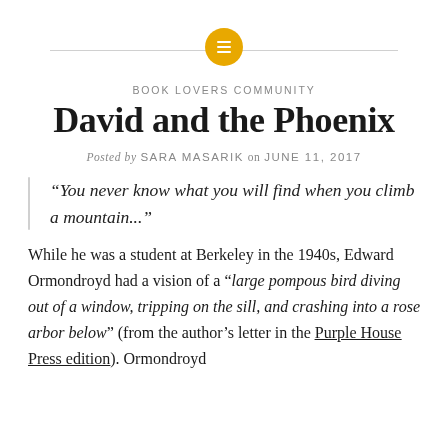[Figure (logo): Golden/amber circle with white horizontal lines icon, with thin gray horizontal rule on either side]
BOOK LOVERS COMMUNITY
David and the Phoenix
Posted by SARA MASARIK on JUNE 11, 2017
“You never know what you will find when you climb a mountain...”
While he was a student at Berkeley in the 1940s, Edward Ormondroyd had a vision of a “large pompous bird diving out of a window, tripping on the sill, and crashing into a rose arbor below” (from the author’s letter in the Purple House Press edition). Ormondroyd